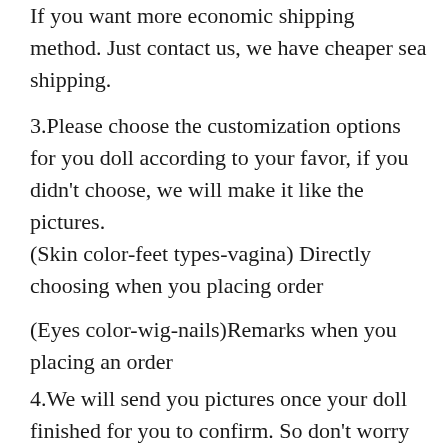If you want more economic shipping method. Just contact us, we have cheaper sea shipping.
3.Please choose the customization options for you doll according to your favor, if you didn't choose, we will make it like the pictures.
(Skin color-feet types-vagina) Directly choosing when you placing order
(Eyes color-wig-nails)Remarks when you placing an order
4.We will send you pictures once your doll finished for you to confirm. So don't worry the actual doll does not match the color picture.